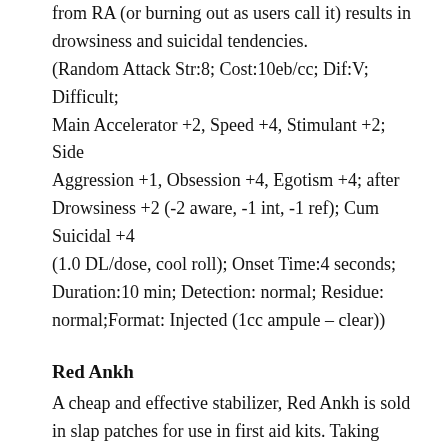from RA (or burning out as users call it) results in drowsiness and suicidal tendencies.
(Random Attack Str:8; Cost:10eb/cc; Dif:V; Difficult; Main Accelerator +2, Speed +4, Stimulant +2; Side Aggression +1, Obsession +4, Egotism +4; after Drowsiness +2 (-2 aware, -1 int, -1 ref); Cum Suicidal +4 (1.0 DL/dose, cool roll); Onset Time:4 seconds; Duration:10 min; Detection: normal; Residue: normal;Format: Injected (1cc ampule – clear))
Red Ankh
A cheap and effective stabilizer, Red Ankh is sold in slap patches for use in first aid kits. Taking mere seconds to take effect, Red Ankh has saved thousands of trauma victims from immediate and certain death. Unfortunately, many users find themselves almost deadly allergic to the active components of this drug...